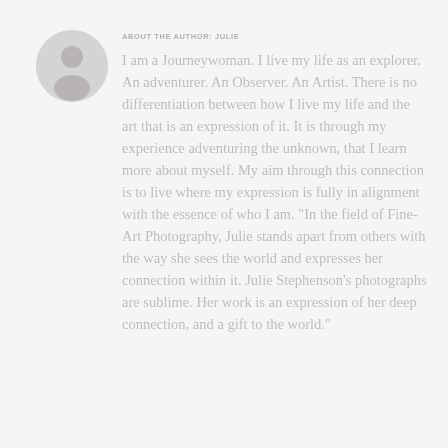[Figure (photo): Circular avatar photo of author Julie, grayscale silhouette portrait]
ABOUT THE AUTHOR: JULIE
I am a Journeywoman. I live my life as an explorer. An adventurer. An Observer. An Artist. There is no differentiation between how I live my life and the art that is an expression of it. It is through my experience adventuring the unknown, that I learn more about myself. My aim through this connection is to live where my expression is fully in alignment with the essence of who I am. "In the field of Fine-Art Photography, Julie stands apart from others with the way she sees the world and expresses her connection within it. Julie Stephenson's photographs are sublime. Her work is an expression of her deep connection, and a gift to the world."